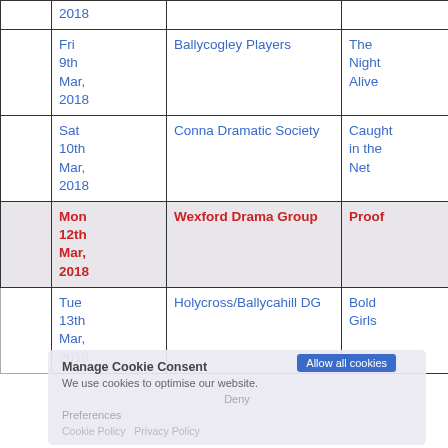|  | Date | Group | Play |  |
| --- | --- | --- | --- | --- |
|  | 2018 |  |  |  |
|  | Fri
9th
Mar,
2018 | Ballycogley Players | The
Night
Alive |  |
|  | Sat
10th
Mar,
2018 | Conna Dramatic Society | Caught
in the
Net |  |
|  | Mon
12th
Mar,
2018 | Wexford Drama Group | Proof |  |
|  | Tue
13th
Mar,
2018 | Holycross/Ballycahill DG | Bold
Girls |  |